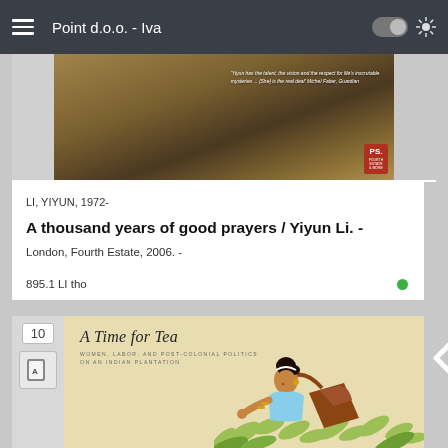Point d.o.o. - Iva
[Figure (illustration): Book cover of 'A thousand years of good prayers' by Yiyun Li, with atmospheric background and PS publisher badge]
LI, YIYUN, 1972-
A thousand years of good prayers / Yiyun Li. -
London, Fourth Estate, 2006. -
895.1 LI tho
[Figure (illustration): Book cover of 'A Time for Tea: Women, Labor, and Post-Colonial Politics on an Indian Plantation' showing illustrated Indian woman picking tea leaves]